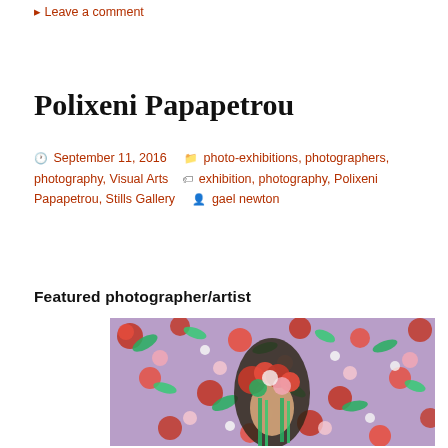Leave a comment
Polixeni Papapetrou
September 11, 2016  photo-exhibitions, photographers, photography, Visual Arts  exhibition, photography, Polixeni Papapetrou, Stills Gallery  gael newton
Featured photographer/artist
[Figure (photo): Portrait of a person with a large floral crown covering most of their face, wearing floral clothing, against a purple floral patterned background. The image is by Polixeni Papapetrou.]